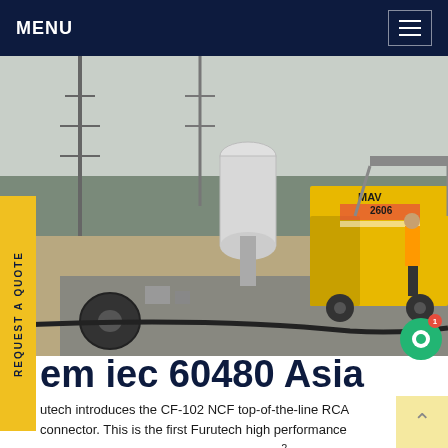MENU
[Figure (photo): Industrial site with a yellow utility truck (MAV 2606) parked near large electrical infrastructure equipment including transformers and towers. A worker is visible on the right. Cable reel in foreground.]
em iec 60480 Asia
utech introduces the CF-102 NCF top-of-the-line RCA connector. This is the first Furutech high performance "signal" connector to feature Nano Crystal² Formula (NCF). This material is the